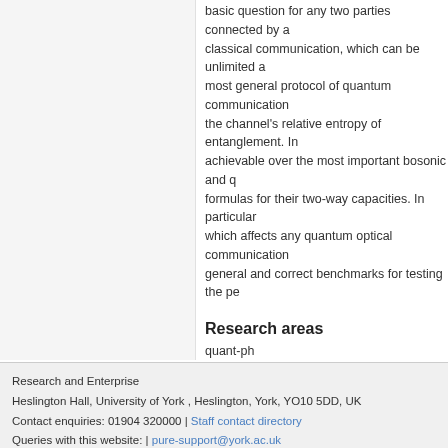basic question for any two parties connected by a classical communication, which can be unlimited and most general protocol of quantum communication the channel's relative entropy of entanglement. In achievable over the most important bosonic and q formulas for their two-way capacities. In particular which affects any quantum optical communication general and correct benchmarks for testing the pe
Research areas
quant-ph
Discover related content
Find related publications, people, projects, data
View graph of relations
York staff: edit these data
Research and Enterprise
Heslington Hall, University of York , Heslington, York, YO10 5DD, UK
Contact enquiries: 01904 320000 | Staff contact directory
Queries with this website: | pure-support@york.ac.uk